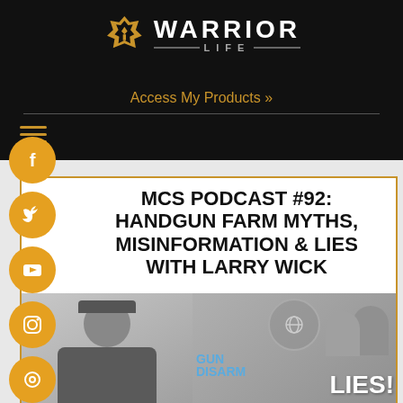[Figure (logo): Warrior Life logo with golden shield/wings icon and WARRIOR LIFE text in white/grey on black background]
Access My Products »
[Figure (other): Hamburger menu icon (three horizontal golden lines)]
[Figure (other): Social media icons sidebar: Facebook, Twitter, YouTube, Instagram, and one more (golden circles)]
MCS PODCAST #92: HANDGUN FARM MYTHS, MISINFORMATION & LIES WITH LARRY WICK
[Figure (photo): Two photos side by side: left shows a man wearing a cap, right shows a podcast cover with 'GUN DISARM LIES!' text and two people]